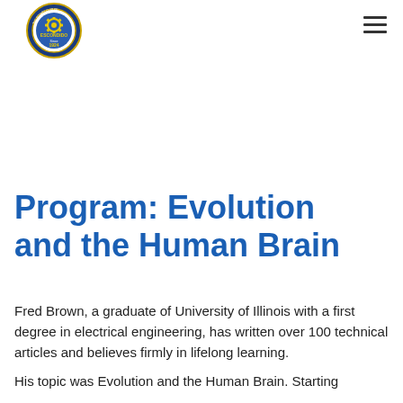[Figure (logo): Rotary Club of Escondido circular badge logo with gear/wheel emblem, blue and gold colors, text reading 'The Rotary Club of Escondido', 'Since 1924']
Program: Evolution and the Human Brain
Fred Brown, a graduate of University of Illinois with a first degree in electrical engineering, has written over 100 technical articles and believes firmly in lifelong learning.
His topic was Evolution and the Human Brain. Starting